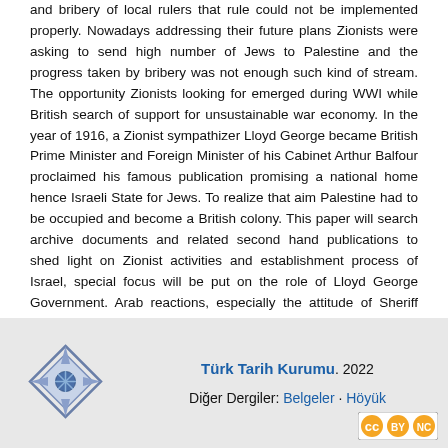and bribery of local rulers that rule could not be implemented properly. Nowadays addressing their future plans Zionists were asking to send high number of Jews to Palestine and the progress taken by bribery was not enough such kind of stream. The opportunity Zionists looking for emerged during WWI while British search of support for unsustainable war economy. In the year of 1916, a Zionist sympathizer Lloyd George became British Prime Minister and Foreign Minister of his Cabinet Arthur Balfour proclaimed his famous publication promising a national home hence Israeli State for Jews. To realize that aim Palestine had to be occupied and become a British colony. This paper will search archive documents and related second hand publications to shed light on Zionist activities and establishment process of Israel, special focus will be put on the role of Lloyd George Government. Arab reactions, especially the attitude of Sheriff Hussein and his son Faisal to the developments also will be discussed.
Türk Tarih Kurumu. 2022
Diğer Dergiler: Belgeler · Höyük
[Figure (logo): Türk Tarih Kurumu diamond-shaped logo with geometric pattern]